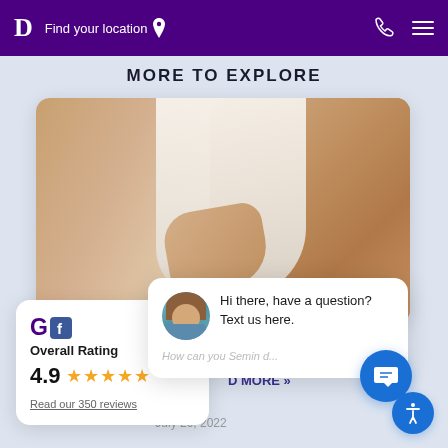D  Find your location
MORE TO EXPLORE
[Figure (photo): Close-up photo of a person wearing a white swimsuit, body contouring context]
close
Hi there, have a question? Text us here.
Overall Rating
4.9
Read our 350 reviews
D MORE »
July 20, 2022